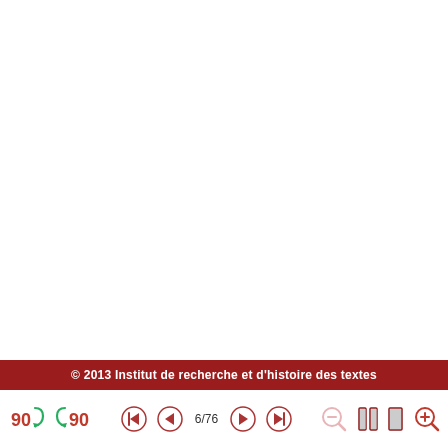© 2013 Institut de recherche et d'histoire des textes
[Figure (screenshot): PDF viewer toolbar with rotation buttons (90° clockwise and counter-clockwise), navigation buttons (first, previous, page 6/76, next, last), and zoom controls (zoom out, page layout toggle, zoom in)]